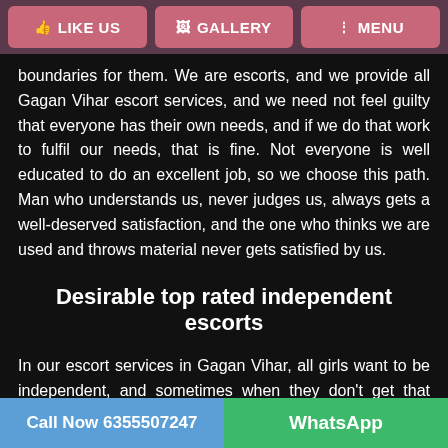LIKE US | GALLERY | MENU
boundaries for them. We are escorts, and we provide all Gagan Vihar escort services, and we need not feel guilty that everyone has their own needs, and if we do that work to fulfil our needs, that is fine. Not everyone is well educated to do an excellent job, so we choose this path. Man who understands us, never judges us, always gets a well-deserved satisfaction, and the one who thinks we are used and throws material never gets satisfied by us.
Desirable top rated independent escorts
In our escort services in Gagan Vihar, all girls want to be independent, and sometimes when they don't get that significantly higher level of education for work and jobs. So they have to choose this path to earn money, they talk with the customers nicely and as
Call Now 6355507247 | WhatsApp